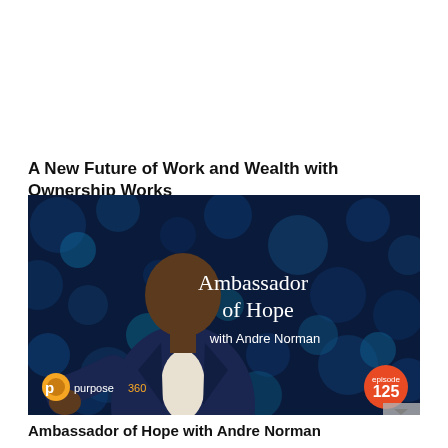A New Future of Work and Wealth with Ownership Works
[Figure (photo): Podcast cover image for 'Ambassador of Hope with Andre Norman' on purpose360, episode 125. A smiling Black man in a dark blue suit gestures toward the camera against a dark blue bokeh background. The show title is displayed in large white serif text on the right side. The purpose360 logo appears in the bottom left and an orange circular badge with '125' appears in the bottom right.]
Ambassador of Hope with Andre Norman